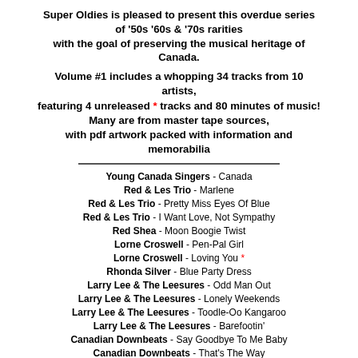Super Oldies is pleased to present this overdue series of '50s '60s & '70s rarities with the goal of preserving the musical heritage of Canada.
Volume #1 includes a whopping 34 tracks from 10 artists, featuring 4 unreleased * tracks and 80 minutes of music! Many are from master tape sources, with pdf artwork packed with information and memorabilia
Young Canada Singers - Canada
Red & Les Trio - Marlene
Red & Les Trio - Pretty Miss Eyes Of Blue
Red & Les Trio - I Want Love, Not Sympathy
Red Shea - Moon Boogie Twist
Lorne Croswell - Pen-Pal Girl
Lorne Croswell - Loving You *
Rhonda Silver - Blue Party Dress
Larry Lee & The Leesures - Odd Man Out
Larry Lee & The Leesures - Lonely Weekends
Larry Lee & The Leesures - Toodle-Oo Kangaroo
Larry Lee & The Leesures - Barefootin'
Canadian Downbeats - Say Goodbye To Me Baby
Canadian Downbeats - That's The Way
Canadian Downbeats - Surf Party